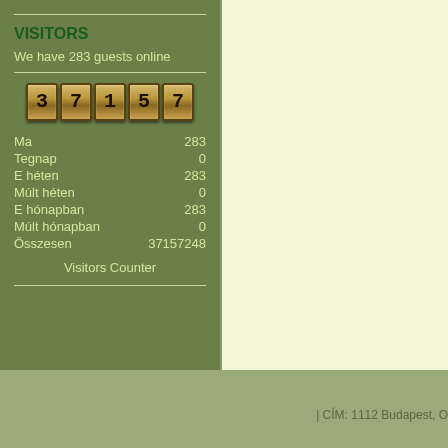VISITORS
We have 283 guests online
[Figure (other): Digital counter display showing 37157]
|  |  |
| --- | --- |
| Ma | 283 |
| Tegnap | 0 |
| E héten | 283 |
| Múlt héten | 0 |
| E hónapban | 283 |
| Múlt hónapban | 0 |
| Összesen | 37157248 |
Visitors Counter
| CÍM: 1112 Budapest, O...